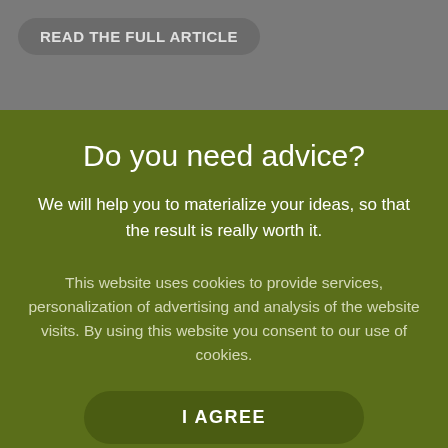READ THE FULL ARTICLE
Do you need advice?
We will help you to materialize your ideas, so that the result is really worth it.
This website uses cookies to provide services, personalization of advertising and analysis of the website visits. By using this website you consent to our use of cookies.
I AGREE